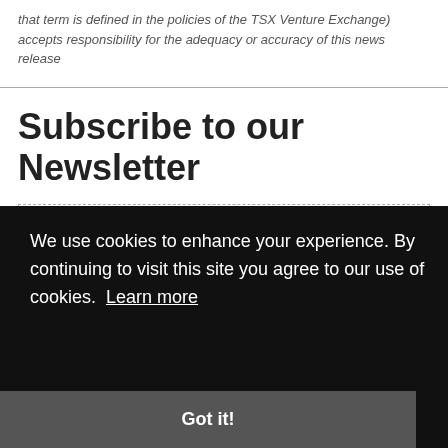that term is defined in the policies of the TSX Venture Exchange) accepts responsibility for the adequacy or accuracy of this news release
Subscribe to our Newsletter
Name
We use cookies to enhance your experience. By continuing to visit this site you agree to our use of cookies. Learn more
Got it!